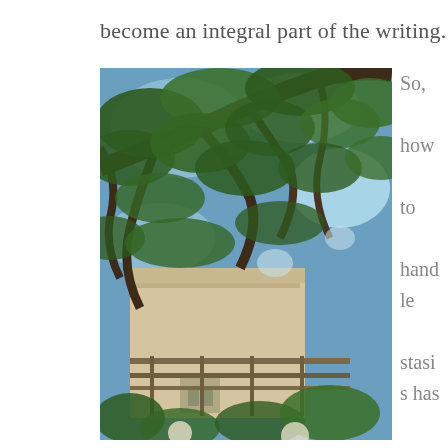become an integral part of the writing.
[Figure (photo): Outdoor photograph looking up through large tree branches with green foliage against a blue sky, with a beige/cream coloured building visible in the lower portion, featuring a pergola or trellis structure with climbing vines and a window.]
So, how to handle stasis has become, for me,